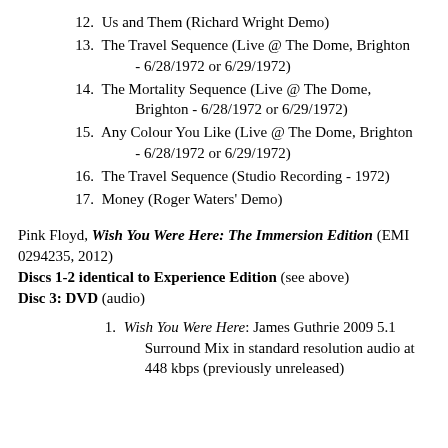12. Us and Them (Richard Wright Demo)
13. The Travel Sequence (Live @ The Dome, Brighton - 6/28/1972 or 6/29/1972)
14. The Mortality Sequence (Live @ The Dome, Brighton - 6/28/1972 or 6/29/1972)
15. Any Colour You Like (Live @ The Dome, Brighton - 6/28/1972 or 6/29/1972)
16. The Travel Sequence (Studio Recording - 1972)
17. Money (Roger Waters' Demo)
Pink Floyd, Wish You Were Here: The Immersion Edition (EMI 0294235, 2012)
Discs 1-2 identical to Experience Edition (see above)
Disc 3: DVD (audio)
1. Wish You Were Here: James Guthrie 2009 5.1 Surround Mix in standard resolution audio at 448 kbps (previously unreleased)